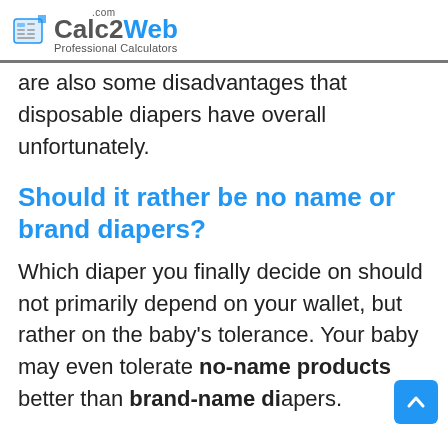Calc2Web.com — Professional Calculators
are also some disadvantages that disposable diapers have overall unfortunately.
Should it rather be no name or brand diapers?
Which diaper you finally decide on should not primarily depend on your wallet, but rather on the baby's tolerance. Your baby may even tolerate no-name products better than brand-name diapers.